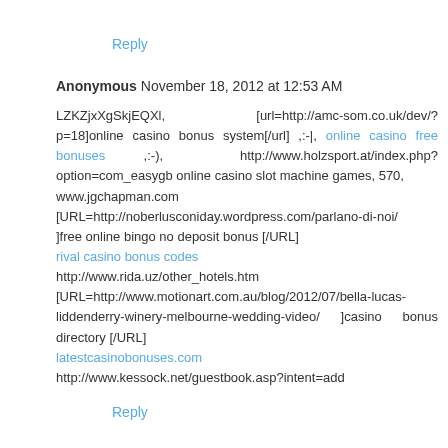Reply
Anonymous  November 18, 2012 at 12:53 AM
LZKZjxXgSkjEQXl,       [url=http://amc-som.co.uk/dev/?p=18]online casino bonus system[/url] ,:-|, online casino free bonuses ,:-),  http://www.holzsport.at/index.php?option=com_easygb online casino slot machine games, 570,
www.jgchapman.com
[URL=http://noberlusconiday.wordpress.com/parlano-di-noi/]free online bingo no deposit bonus [/URL]
rival casino bonus codes
http://www.rida.uz/other_hotels.htm
[URL=http://www.motionart.com.au/blog/2012/07/bella-lucas-liddenderry-winery-melbourne-wedding-video/ ]casino bonus directory [/URL]
latestcasinobonuses.com
http://www.kessock.net/guestbook.asp?intent=add
Reply